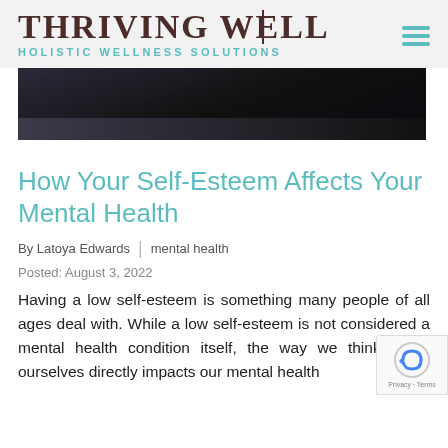THRIVING WELL HOLISTIC WELLNESS SOLUTIONS
[Figure (photo): Dark hero banner image, mostly black/dark, showing a partial silhouette]
How Your Self-Esteem Affects Your Mental Health
By Latoya Edwards | mental health
Posted: August 3, 2022
Having a low self-esteem is something many people of all ages deal with. While a low self-esteem is not considered a mental health condition itself, the way we think about ourselves directly impacts our mental health